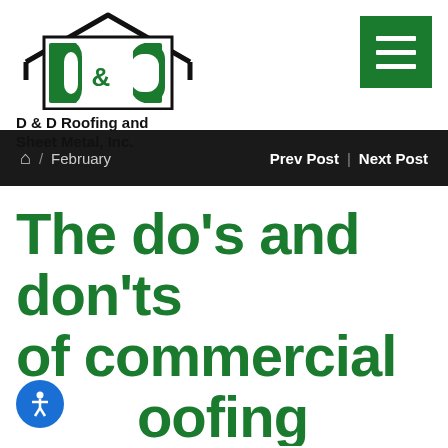[Figure (logo): D & D Roofing and Sheet Metal, Inc. company logo with house/roof outline and green D&D emblem]
[Figure (other): Green hamburger menu icon (three white horizontal lines on green background)]
Home / February   Prev Post | Next Post
The do’s and don’ts of commercial roofing